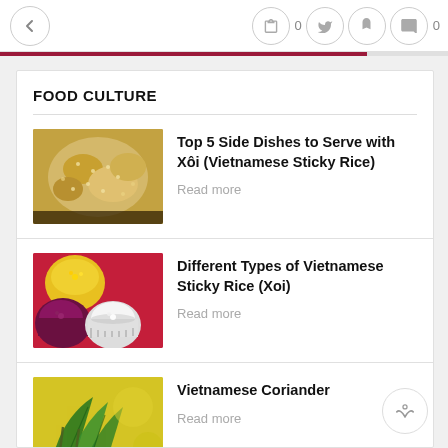← f 0 (twitter) (bookmark) (comment) 0
FOOD CULTURE
Top 5 Side Dishes to Serve with Xôi (Vietnamese Sticky Rice)
Read more
Different Types of Vietnamese Sticky Rice (Xoi)
Read more
Vietnamese Coriander
Read more